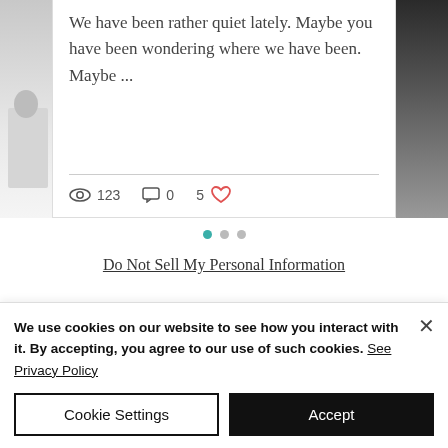[Figure (screenshot): Blog post card with text excerpt and engagement stats (123 views, 0 comments, 5 likes). Side photos partially visible on left and right edges.]
We have been rather quiet lately. Maybe you have been wondering where we have been. Maybe ...
123   0   5
[Figure (other): Carousel pagination dots: three dots, first one active (teal), second and third grey]
Do Not Sell My Personal Information
We use cookies on our website to see how you interact with it. By accepting, you agree to our use of such cookies. See Privacy Policy
Cookie Settings
Accept